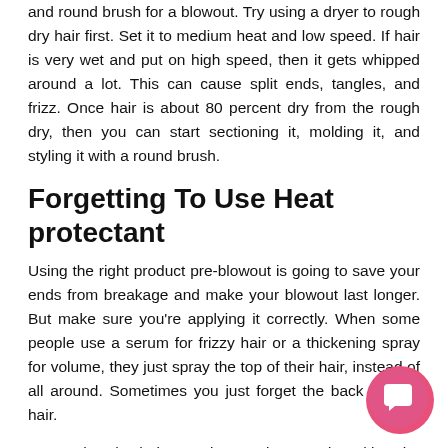and round brush for a blowout. Try using a dryer to rough dry hair first. Set it to medium heat and low speed. If hair is very wet and put on high speed, then it gets whipped around a lot. This can cause split ends, tangles, and frizz. Once hair is about 80 percent dry from the rough dry, then you can start sectioning it, molding it, and styling it with a round brush.
Forgetting To Use Heat protectant
Using the right product pre-blowout is going to save your ends from breakage and make your blowout last longer. But make sure you're applying it correctly. When some people use a serum for frizzy hair or a thickening spray for volume, they just spray the top of their hair, instead of all around. Sometimes you just forget the back of your hair.
Try parting the hair, creating sections, and working the product from mid-shaft to ends. You can also comb it through.
Ignoring The Concentrator Nozzle
You know that flat, nozzle thing that attaches to the end of your hair dryer? Don't lose it! That little nozzle helps concentrate the